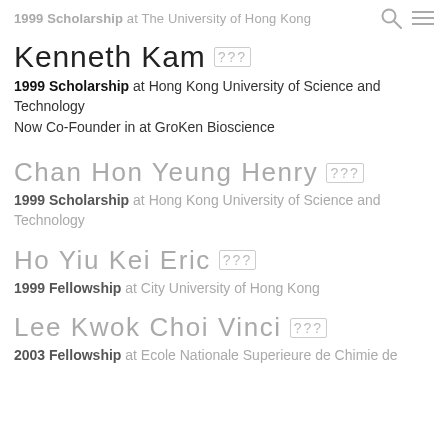1999 Scholarship at The University of Hong Kong
Kenneth Kam [???]
1999 Scholarship at Hong Kong University of Science and Technology
Now Co-Founder in at GroKen Bioscience
Chan Hon Yeung Henry [???]
1999 Scholarship at Hong Kong University of Science and Technology
Ho Yiu Kei Eric [???]
1999 Fellowship at City University of Hong Kong
Lee Kwok Choi Vinci [???]
2003 Fellowship at Ecole Nationale Superieure de Chimie de